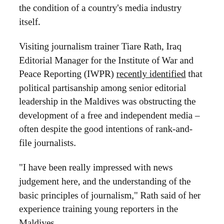the condition of a country's media industry itself.
Visiting journalism trainer Tiare Rath, Iraq Editorial Manager for the Institute of War and Peace Reporting (IWPR) recently identified that political partisanship among senior editorial leadership in the Maldives was obstructing the development of a free and independent media – often despite the good intentions of rank-and-file journalists.
“I have been really impressed with news judgement here, and the understanding of the basic principles of journalism,” Rath said of her experience training young reporters in the Maldives.
“But on the other hand, one of the major issues all my students talked about is resistance among newsroom leadership – editors and publishers. Even if the journalists support and understand the